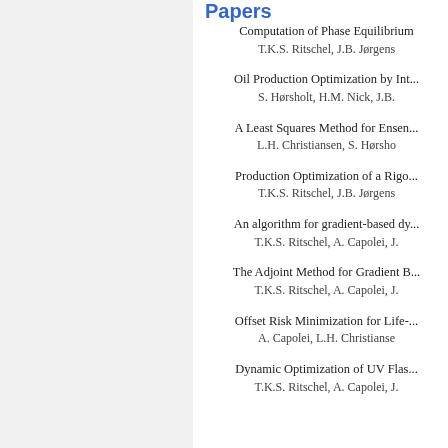Papers
Computation of Phase Equilibrium
T.K.S. Ritschel, J.B. Jørgens
Oil Production Optimization by Int...
S. Hørsholt, H.M. Nick, J.B.
A Least Squares Method for Ensen...
L.H. Christiansen, S. Hørsho
Production Optimization of a Rigo...
T.K.S. Ritschel, J.B. Jørgens
An algorithm for gradient-based dy...
T.K.S. Ritschel, A. Capolei, J.
The Adjoint Method for Gradient B...
T.K.S. Ritschel, A. Capolei, J.
Offset Risk Minimization for Life-...
A. Capolei, L.H. Christianse
Dynamic Optimization of UV Flas...
T.K.S. Ritschel, A. Capolei, J.